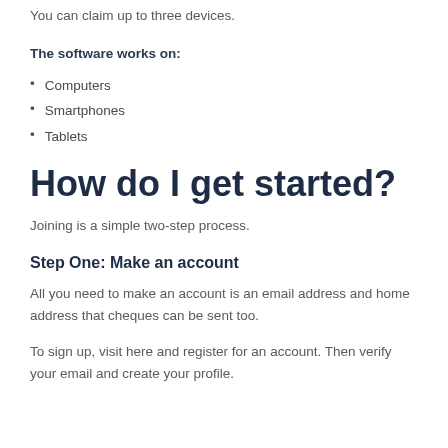You can claim up to three devices.
The software works on:
Computers
Smartphones
Tablets
How do I get started?
Joining is a simple two-step process.
Step One: Make an account
All you need to make an account is an email address and home address that cheques can be sent too.
To sign up, visit here and register for an account. Then verify your email and create your profile.